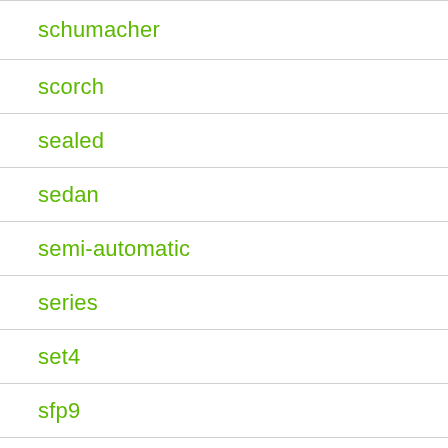schumacher
scorch
sealed
sedan
semi-automatic
series
set4
sfp9
shaw
shoemaker
shooting
shop
shot